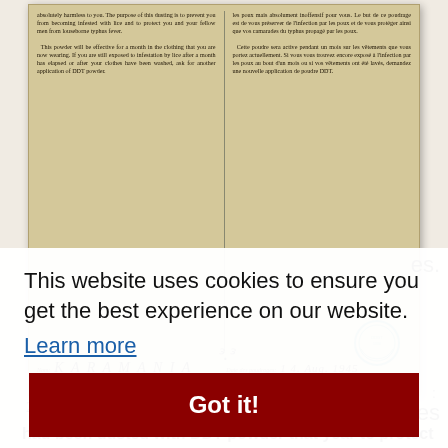[Figure (photo): Photograph of a historical DDT dusting certificate card dated 14 Aug 1945, bilingual English/French, with handwritten name KARAMANIA Yessai, a signature, and an official circular stamp]
2.
This website uses cookies to ensure you get the best experience on our website.
Learn more
Got it!
had been dusted with DDT powder that year to protect